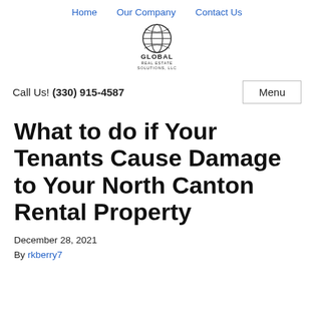Home   Our Company   Contact Us
[Figure (logo): Global Real Estate Solutions LLC globe logo with company name text]
Call Us! (330) 915-4587
What to do if Your Tenants Cause Damage to Your North Canton Rental Property
December 28, 2021
By rkberry7